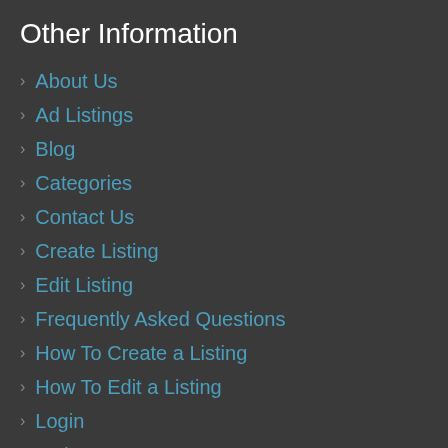Other Information
About Us
Ad Listings
Blog
Categories
Contact Us
Create Listing
Edit Listing
Frequently Asked Questions
How To Create a Listing
How To Edit a Listing
Login
Orders
Password Recovery
Password Reset
Privacy Policy
Purchase Membership